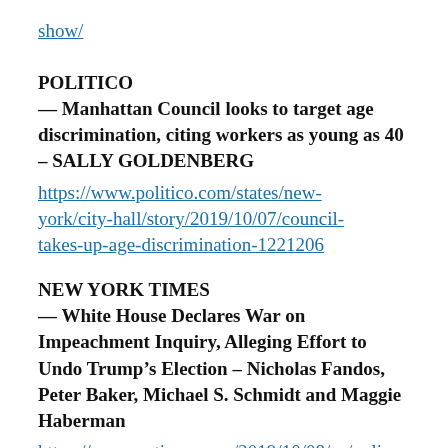show/
POLITICO
— Manhattan Council looks to target age discrimination, citing workers as young as 40 – SALLY GOLDENBERG
https://www.politico.com/states/new-york/city-hall/story/2019/10/07/council-takes-up-age-discrimination-1221206
NEW YORK TIMES
— White House Declares War on Impeachment Inquiry, Alleging Effort to Undo Trump's Election – Nicholas Fandos, Peter Baker, Michael S. Schmidt and Maggie Haberman
https://www.nytimes.com/2019/10/08/us/poli